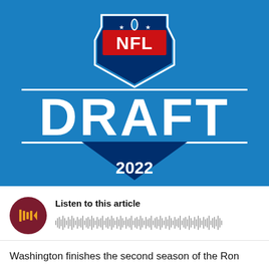[Figure (logo): NFL Draft 2022 logo on blue background. Shield-shaped NFL logo at top center with red NFL letters and stars. Large white bold text DRAFT below. Year 2022 in white below that. All on bright blue background.]
Listen to this article
Washington finishes the second season of the Ron